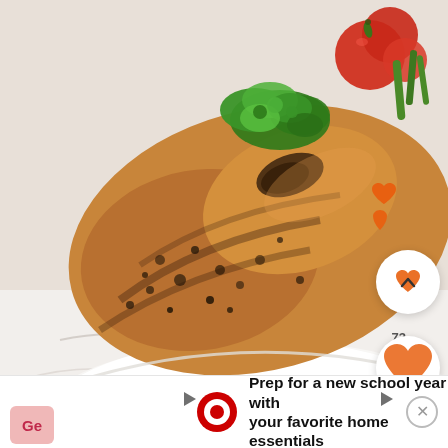[Figure (photo): Close-up photo of a grilled chicken breast garnished with fresh parsley, served on a white plate with cherry tomatoes and green beans visible in the upper right. The chicken is golden-brown with dark grill marks and seasoning. Background is a white marble surface.]
Tequila Grilled Chicken
Prep for a new school year with your favorite home essentials